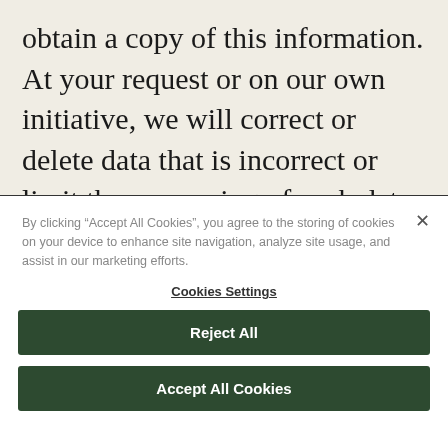obtain a copy of this information. At your request or on our own initiative, we will correct or delete data that is incorrect or limit the processing of such data. You have the right to object to such processing of your personal data that occurs on the legal basis that we have a legitimate interest. You also have the right to limit the processing
By clicking “Accept All Cookies”, you agree to the storing of cookies on your device to enhance site navigation, analyze site usage, and assist in our marketing efforts.
Cookies Settings
Reject All
Accept All Cookies